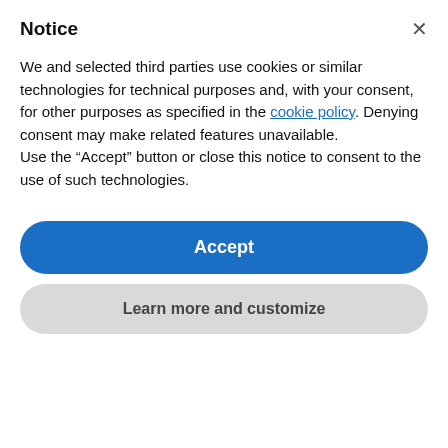Notice
We and selected third parties use cookies or similar technologies for technical purposes and, with your consent, for other purposes as specified in the cookie policy. Denying consent may make related features unavailable.
Use the “Accept” button or close this notice to consent to the use of such technologies.
Accept
Learn more and customize
Do you come home from work feeling tired and stressed and without the energy to do anything other than